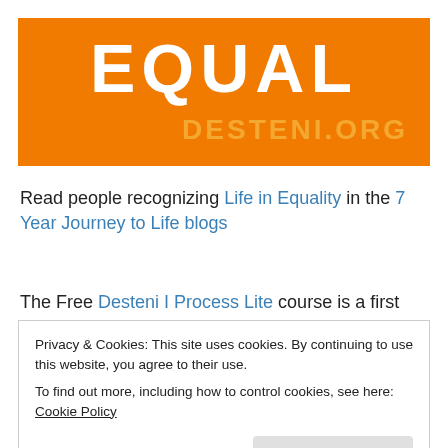[Figure (logo): Orange banner with large white text 'EQUAL' and orange-tinted text 'DESTENI.ORG' on the right side]
Read people recognizing Life in Equality in the 7 Year Journey to Life blogs
The Free Desteni I Process Lite course is a first platform
Privacy & Cookies: This site uses cookies. By continuing to use this website, you agree to their use.
To find out more, including how to control cookies, see here: Cookie Policy
Close and accept
Desteni Articles